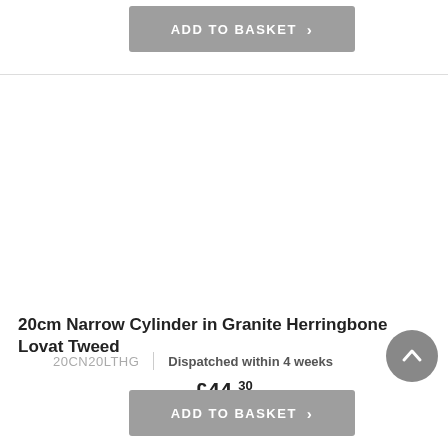ADD TO BASKET ›
20cm Narrow Cylinder in Granite Herringbone Lovat Tweed
20CN20LTHG | Dispatched within 4 weeks
£44.30
ADD TO BASKET ›